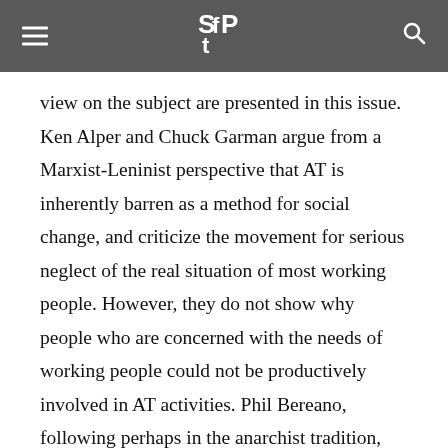SftP
view on the subject are presented in this issue. Ken Alper and Chuck Garman argue from a Marxist-Leninist perspective that AT is inherently barren as a method for social change, and criticize the movement for serious neglect of the real situation of most working people. However, they do not show why people who are concerned with the needs of working people could not be productively involved in AT activities. Phil Bereano, following perhaps in the anarchist tradition, contends that